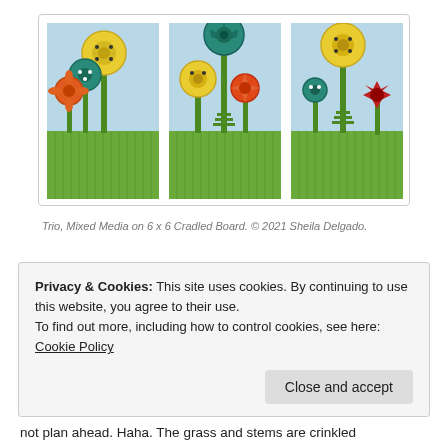[Figure (illustration): Three side-by-side paintings of whimsical folk-art style flowers on stems rising from a green grassy hill, with a light blue sky background. Flowers include yellow, orange, teal/green and red varieties. Each panel is a 6x6 artwork on cradled board.]
Trio, Mixed Media on 6 x 6 Cradled Board. © 2021 Sheila Delgado.
Privacy & Cookies: This site uses cookies. By continuing to use this website, you agree to their use.
To find out more, including how to control cookies, see here: Cookie Policy
not plan ahead. Haha. The grass and stems are crinkled